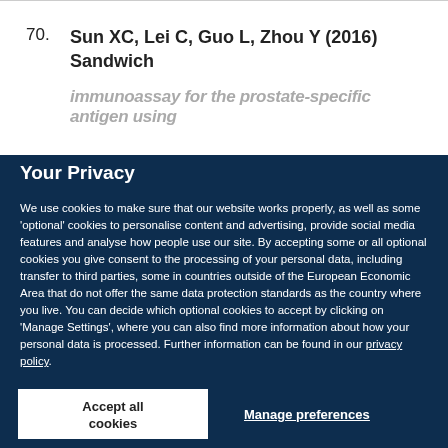70. Sun XC, Lei C, Guo L, Zhou Y (2016) Sandwich immunoassay for the prostate-specific antigen using…
Your Privacy
We use cookies to make sure that our website works properly, as well as some 'optional' cookies to personalise content and advertising, provide social media features and analyse how people use our site. By accepting some or all optional cookies you give consent to the processing of your personal data, including transfer to third parties, some in countries outside of the European Economic Area that do not offer the same data protection standards as the country where you live. You can decide which optional cookies to accept by clicking on 'Manage Settings', where you can also find more information about how your personal data is processed. Further information can be found in our privacy policy.
Accept all cookies
Manage preferences